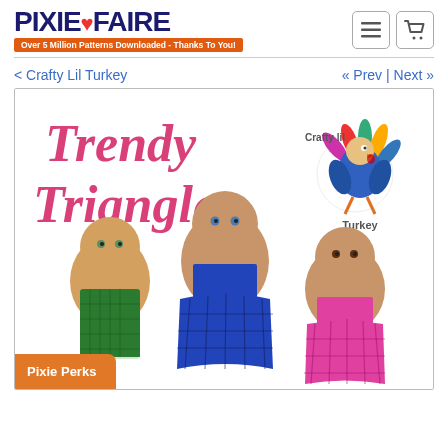[Figure (logo): Pixie Faire logo with heart icon and orange subtitle 'Over 5 Million Patterns Downloaded - Thanks To You!']
< Crafty Lil Turkey
« Prev | Next »
[Figure (photo): Product cover image titled 'Trendy Triangles' by Crafty Lil Turkey, showing three baby dolls wearing checkered dresses in green, blue/navy, and pink]
Pixie Perks